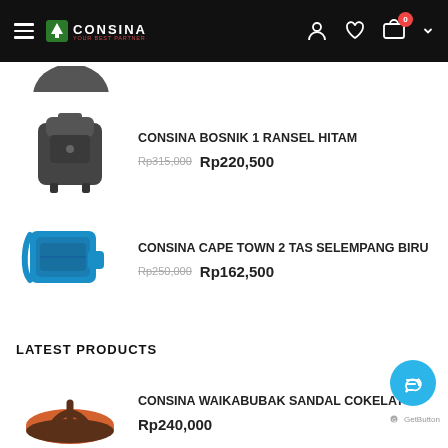CONSINA
[Figure (photo): Black backpack product image (partially visible at top)]
CONSINA BOSNIK 1 RANSEL HITAM
Rp315,000  Rp220,500
[Figure (photo): Blue sling bag product image]
CONSINA CAPE TOWN 2 TAS SELEMPANG BIRU
Rp250,000  Rp162,500
LATEST PRODUCTS
[Figure (photo): Brown sandal product image]
CONSINA WAIKABUBAK SANDAL COKELAT
Rp240,000
[Figure (photo): Partial product image at bottom (cropped)]